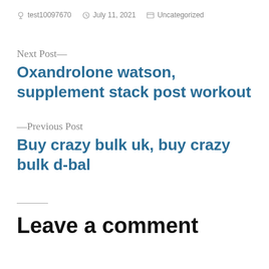test10097670   July 11, 2021   Uncategorized
Next Post—
Oxandrolone watson, supplement stack post workout
—Previous Post
Buy crazy bulk uk, buy crazy bulk d-bal
Leave a comment